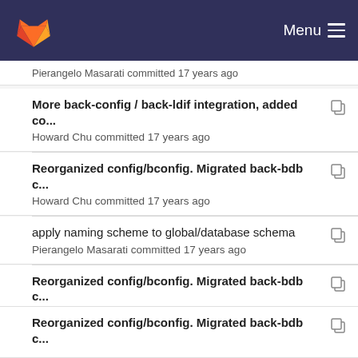Menu
Pierangelo Masarati committed 17 years ago
More back-config / back-ldif integration, added co... Howard Chu committed 17 years ago
Reorganized config/bconfig. Migrated back-bdb c... Howard Chu committed 17 years ago
apply naming scheme to global/database schema Pierangelo Masarati committed 17 years ago
Reorganized config/bconfig. Migrated back-bdb c... Howard Chu committed 17 years ago
ITS#4556 allow Add content checking to be config... Howard Chu committed 13 years ago
Reorganized config/bconfig. Migrated back-bdb c...